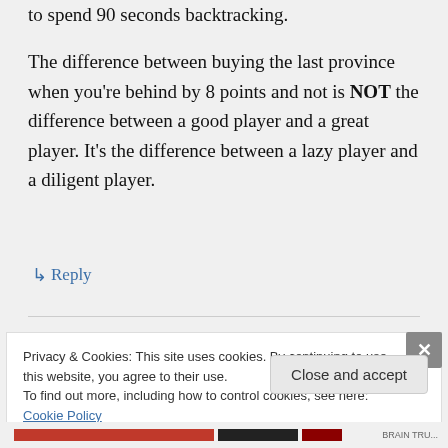to spend 90 seconds backtracking.

The difference between buying the last province when you're behind by 8 points and not is NOT the difference between a good player and a great player. It's the difference between a lazy player and a diligent player.
↳ Reply
Privacy & Cookies: This site uses cookies. By continuing to use this website, you agree to their use.
To find out more, including how to control cookies, see here: Cookie Policy
Close and accept